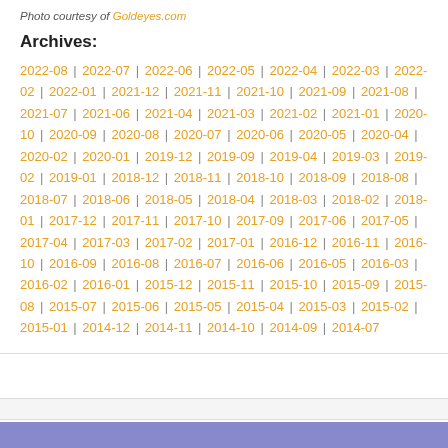Photo courtesy of Goldeyes.com
Archives:
2022-08 | 2022-07 | 2022-06 | 2022-05 | 2022-04 | 2022-03 | 2022-02 | 2022-01 | 2021-12 | 2021-11 | 2021-10 | 2021-09 | 2021-08 | 2021-07 | 2021-06 | 2021-04 | 2021-03 | 2021-02 | 2021-01 | 2020-10 | 2020-09 | 2020-08 | 2020-07 | 2020-06 | 2020-05 | 2020-04 | 2020-02 | 2020-01 | 2019-12 | 2019-09 | 2019-04 | 2019-03 | 2019-02 | 2019-01 | 2018-12 | 2018-11 | 2018-10 | 2018-09 | 2018-08 | 2018-07 | 2018-06 | 2018-05 | 2018-04 | 2018-03 | 2018-02 | 2018-01 | 2017-12 | 2017-11 | 2017-10 | 2017-09 | 2017-06 | 2017-05 | 2017-04 | 2017-03 | 2017-02 | 2017-01 | 2016-12 | 2016-11 | 2016-10 | 2016-09 | 2016-08 | 2016-07 | 2016-06 | 2016-05 | 2016-03 | 2016-02 | 2016-01 | 2015-12 | 2015-11 | 2015-10 | 2015-09 | 2015-08 | 2015-07 | 2015-06 | 2015-05 | 2015-04 | 2015-03 | 2015-02 | 2015-01 | 2014-12 | 2014-11 | 2014-10 | 2014-09 | 2014-07